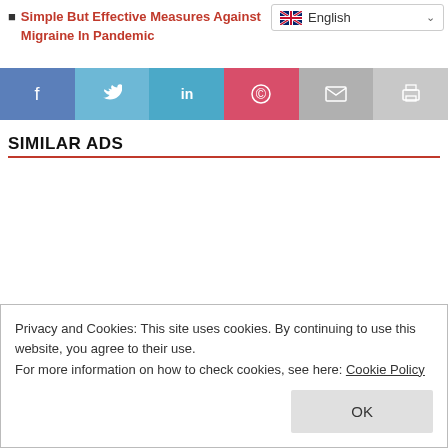Simple But Effective Measures Against Migraine In Pandemic
[Figure (infographic): Language selector widget showing English with flag and dropdown arrow]
[Figure (infographic): Social media share bar with icons for Facebook, Twitter, LinkedIn, Pinterest, Email, and Print]
SIMILAR ADS
Privacy and Cookies: This site uses cookies. By continuing to use this website, you agree to their use.
For more information on how to check cookies, see here: Cookie Policy
OK